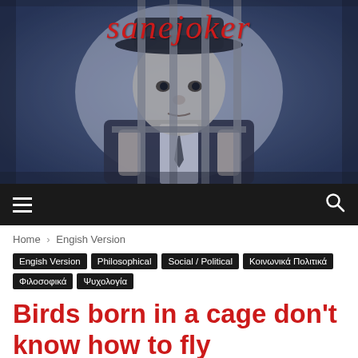[Figure (photo): Black and white photo of a man in a suit and hat gripping prison bars, looking through them. The word 'sanejoker' appears in red italic text at the top of the image.]
≡  [search icon]
Home › Engish Version
Engish Version  Philosophical  Social / Political  Κοινωνικά Πολιτικά  Φιλοσοφικά  Ψυχολογία
Birds born in a cage don't know how to fly
By SaneJoker - Jul 21, 2016   👁 283   💬 0